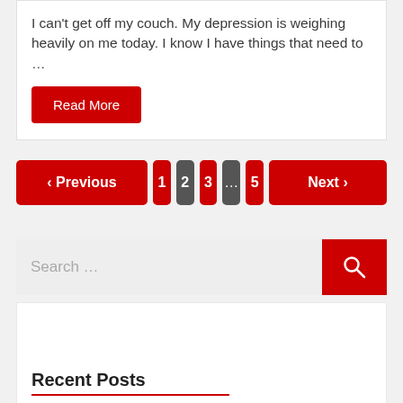I can't get off my couch. My depression is weighing heavily on me today. I know I have things that need to …
Read More
‹ Previous  1  2  3  ...  5  Next ›
Search …
Recent Posts
Pelvic Organ Prolapse – Treatment and Prevention
10 Possible Causes of Irregular…